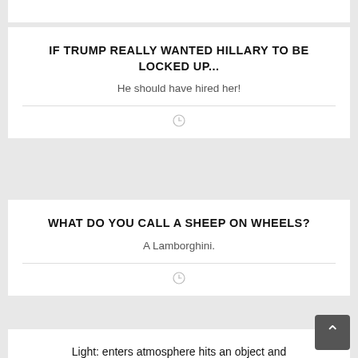IF TRUMP REALLY WANTED HILLARY TO BE LOCKED UP...
He should have hired her!
WHAT DO YOU CALL A SHEEP ON WHEELS?
A Lamborghini.
Light: enters atmosphere hits an object and